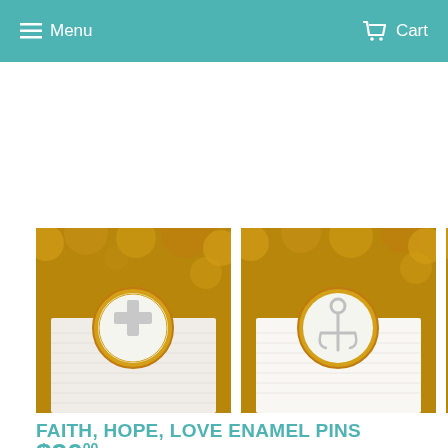Menu  Cart
[Figure (photo): Three gold circular enamel pins on an open book with gold star decorations in the background. Each pin features a different symbol: a cross/faith symbol, an anchor/hope symbol, and a cross/love symbol, set in a white enamel circle with gold border.]
FAITH, HOPE, LOVE ENAMEL PINS
$20.00